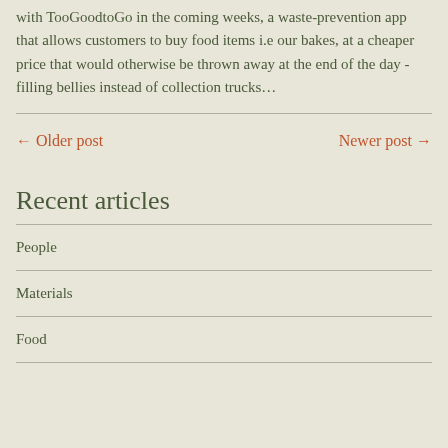with TooGoodtoGo in the coming weeks, a waste-prevention app that allows customers to buy food items i.e our bakes, at a cheaper price that would otherwise be thrown away at the end of the day - filling bellies instead of collection trucks…
← Older post
Newer post →
Recent articles
People
Materials
Food